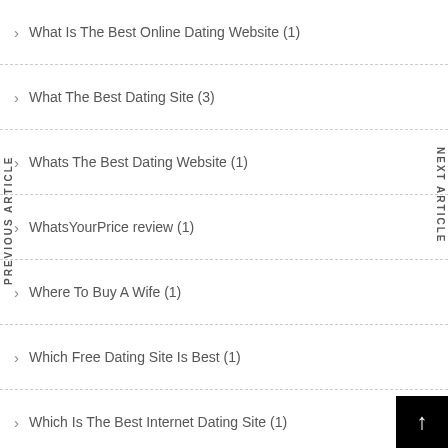What Is The Best Online Dating Website (1)
What The Best Dating Site (3)
Whats The Best Dating Website (1)
WhatsYourPrice review (1)
Where To Buy A Wife (1)
Which Free Dating Site Is Best (1)
Which Is The Best Internet Dating Site (1)
Which Online Dating Site Is The Best (1)